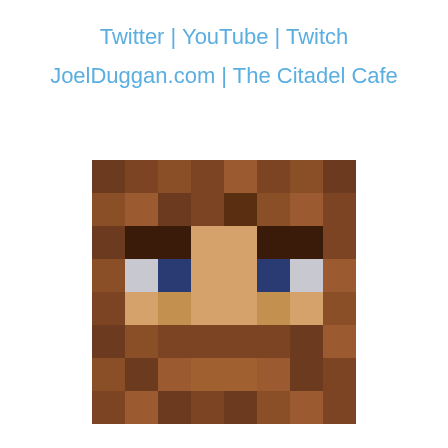Twitter | YouTube | Twitch
JoelDuggan.com | The Citadel Cafe
[Figure (illustration): Minecraft-style pixelated character face/head, brown hair, blue eyes, skin-toned face, on white background]